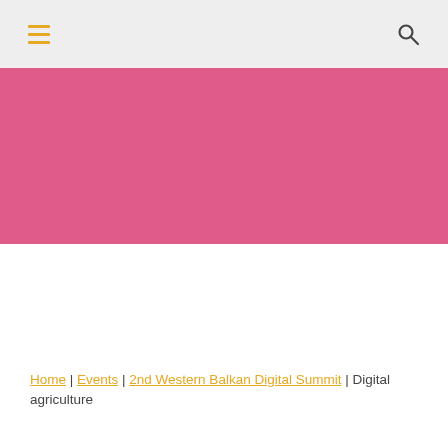≡  🔍
[Figure (other): Pink/magenta solid color hero banner image placeholder]
Home | Events | 2nd Western Balkan Digital Summit | Digital agriculture